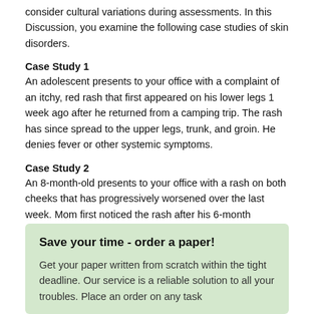consider cultural variations during assessments. In this Discussion, you examine the following case studies of skin disorders.
Case Study 1
An adolescent presents to your office with a complaint of an itchy, red rash that first appeared on his lower legs 1 week ago after he returned from a camping trip. The rash has since spread to the upper legs, trunk, and groin. He denies fever or other systemic symptoms.
Case Study 2
An 8-month-old presents to your office with a rash on both cheeks that has progressively worsened over the last week. Mom first noticed the rash after his 6-month checkup. He has generalized dry skin and rubs at his cheeks often.
Save your time - order a paper!
Get your paper written from scratch within the tight deadline. Our service is a reliable solution to all your troubles. Place an order on any task